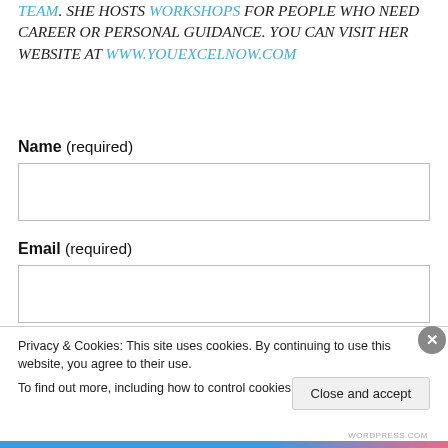TEAM. SHE HOSTS WORKSHOPS FOR PEOPLE WHO NEED CAREER OR PERSONAL GUIDANCE. YOU CAN VISIT HER WEBSITE AT WWW.YOUEXCELNOW.COM
Name (required)
Email (required)
Privacy & Cookies: This site uses cookies. By continuing to use this website, you agree to their use. To find out more, including how to control cookies, see here: Cookie Policy